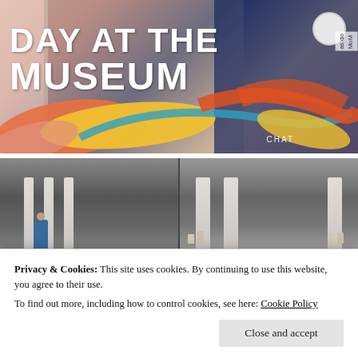[Figure (photo): Person wearing a floral top with a medical sensor/patch visible, overlaid with colorful splatter artwork and bold white title text 'DAY AT THE MUSEUM' and a small label or tag on the right side]
DAY AT THE MUSEUM
[Figure (photo): Split view of a museum interior showing large columns and gallery space with visitors, presented as two side-by-side cropped photos]
Privacy & Cookies: This site uses cookies. By continuing to use this website, you agree to their use.
To find out more, including how to control cookies, see here: Cookie Policy
[Figure (photo): Bottom portion of museum interior photos partially visible behind the cookie consent banner]